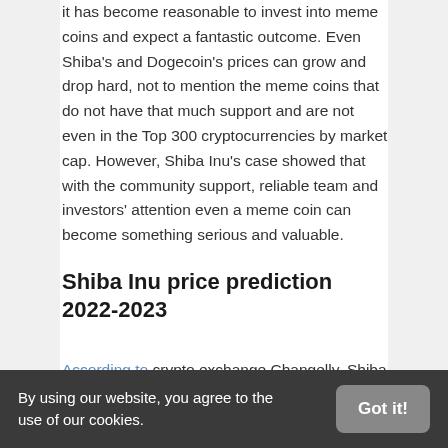it has become reasonable to invest into meme coins and expect a fantastic outcome. Even Shiba's and Dogecoin's prices can grow and drop hard, not to mention the meme coins that do not have that much support and are not even in the Top 300 cryptocurrencies by market cap. However, Shiba Inu's case showed that with the community support, reliable team and investors' attention even a meme coin can become something serious and valuable.
Shiba Inu price prediction 2022-2023
According to crypto exchange Changelly, Shiba Inu's price will continue its movement.
By using our website, you agree to the use of our cookies.